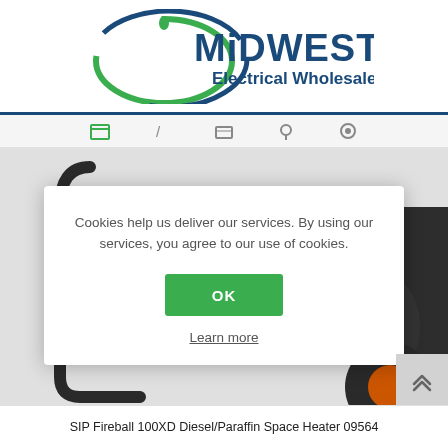[Figure (logo): Midwest Electrical Wholesale Ltd. logo with green and blue circular swoosh graphic and blue text]
[Figure (screenshot): Website screenshot showing navigation bar icons and product image (SIP Fireball 100XD space heater) partially visible behind cookie consent modal]
Cookies help us deliver our services. By using our services, you agree to our use of cookies.
OK
Learn more
SIP Fireball 100XD Diesel/Paraffin Space Heater 09564